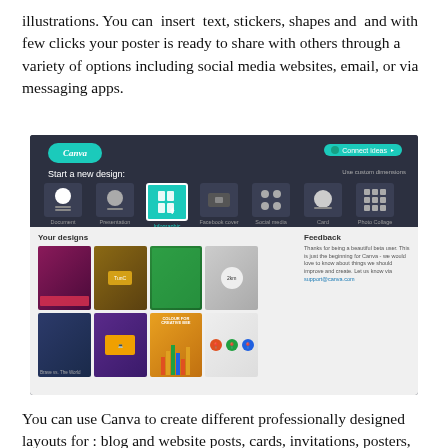illustrations. You can insert text, stickers, shapes and and with few clicks your poster is ready to share with others through a variety of options including social media websites, email, or via messaging apps.
[Figure (screenshot): Screenshot of the Canva web application interface showing the 'Start a new design' page with design type icons (Document, Presentation, Infographic, Facebook cover, Social media, Card, Photo Collage) and a 'Your designs' section with thumbnail previews, plus a Feedback panel on the right.]
You can use Canva to create different professionally designed layouts for : blog and website posts, cards, invitations, posters, flyers, logos, social media banners, photo collages, presentations, book covers, and many more. Canva offers several free elements to help you make your graphic stand out. These include a